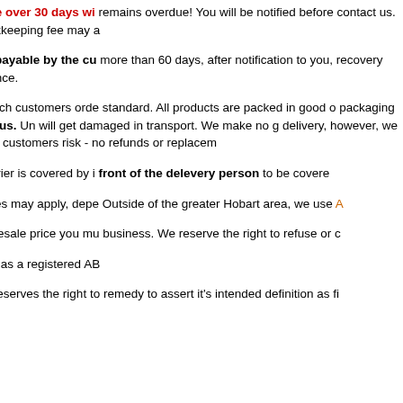2. Any outstanding balance over 30 days wi... remains overdue! You will be notified before... contact us. A $5.00 postage and bookkeeping fee may a...
3. Any recovery costs are payable by the cu... more than 60 days, after notification to you, ... recovery proceedings may commence.
4. All effort is made to dispatch customers orde... standard. All products are packed in good o... packaging or delivery, please notify us. Un... will get damaged in transport. We make no g... delivery, however, we aim to resolve any pro... the customers risk - no refunds or replacem...
5. Delivery via Fastway Courier is covered by i... front of the delevery person to be covere...
6. Delivery & Courier Charges may apply, depe... Outside of the greater Hobart area, we use A...
7. To be eligible for our wholesale price you mu... business. We reserve the right to refuse or c...
8. This Australian business has a registered AB...
9. Tasmanian Gingerbread reserves the right t... remedy to assert it's intended definition as fi...